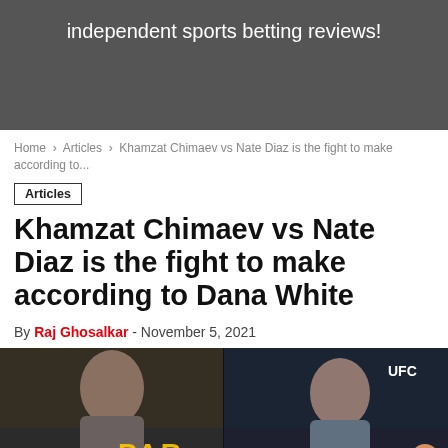independent sports betting reviews!
Home > Articles > Khamzat Chimaev vs Nate Diaz is the fight to make according to...
Articles
Khamzat Chimaev vs Nate Diaz is the fight to make according to Dana White
By Raj Ghosalkar - November 5, 2021
[Figure (photo): Split image of Nate Diaz on the left and Khamzat Chimaev on the right, both inside UFC octagon. Paripesa advertisement banner overlaid at the bottom.]